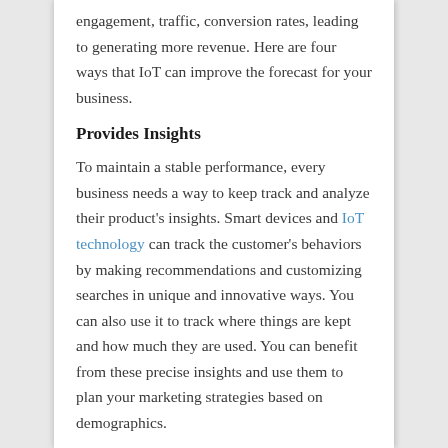engagement, traffic, conversion rates, leading to generating more revenue. Here are four ways that IoT can improve the forecast for your business.
Provides Insights
To maintain a stable performance, every business needs a way to keep track and analyze their product's insights. Smart devices and IoT technology can track the customer's behaviors by making recommendations and customizing searches in unique and innovative ways. You can also use it to track where things are kept and how much they are used. You can benefit from these precise insights and use them to plan your marketing strategies based on demographics.